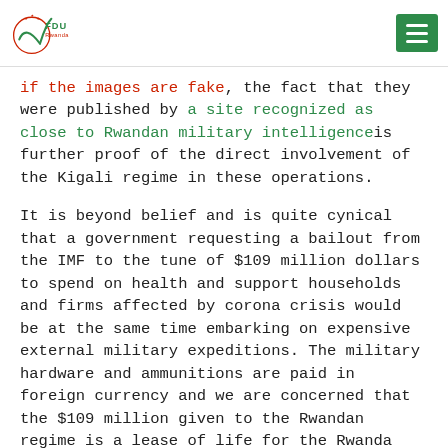FDU Rwanda
if the images are fake, the fact that they were published by a site recognized as close to Rwandan military intelligence is further proof of the direct involvement of the Kigali regime in these operations.
It is beyond belief and is quite cynical that a government requesting a bailout from the IMF to the tune of $109 million dollars to spend on health and support households and firms affected by corona crisis would be at the same time embarking on expensive external military expeditions. The military hardware and ammunitions are paid in foreign currency and we are concerned that the $109 million given to the Rwandan regime is a lease of life for the Rwanda regime to finance its external military operations. One can imagine the